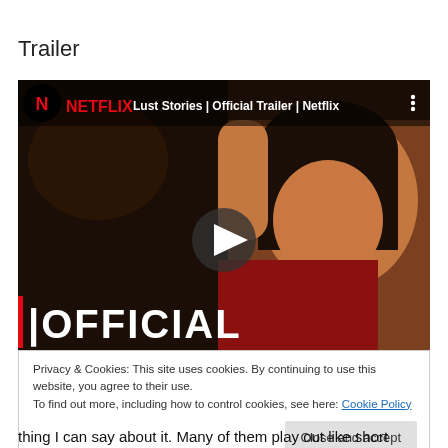Trailer
[Figure (screenshot): YouTube-style video thumbnail showing Netflix 'Lust Stories | Official Trailer | Netflix' with a play button overlay and OFFICIAL text at the bottom, with a cookie consent banner overlay]
Privacy & Cookies: This site uses cookies. By continuing to use this website, you agree to their use.
To find out more, including how to control cookies, see here: Cookie Policy
thing I can say about it. Many of them play out like short